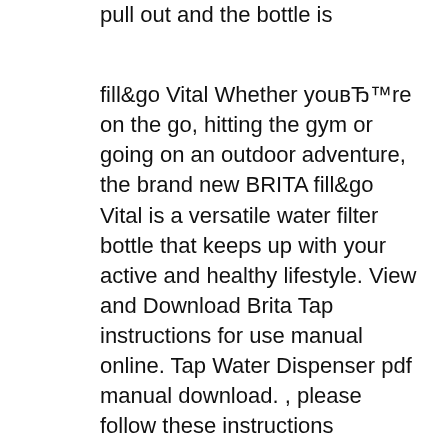pull out and the bottle is
fill&go Vital Whether youвЂ™re on the go, hitting the gym or going on an outdoor adventure, the brand new BRITA fill&go Vital is a versatile water filter bottle that keeps up with your active and healthy lifestyle. View and Download Brita Tap instructions for use manual online. Tap Water Dispenser pdf manual download. , please follow these instructions carefully. Your BRITA Tap Water Filter Kit includes the following (see fig. 1): 1. F ilter head with three settings including a convenient locking handle 2. , naleEjy zamГiwiД‡ go w firmie BRITA